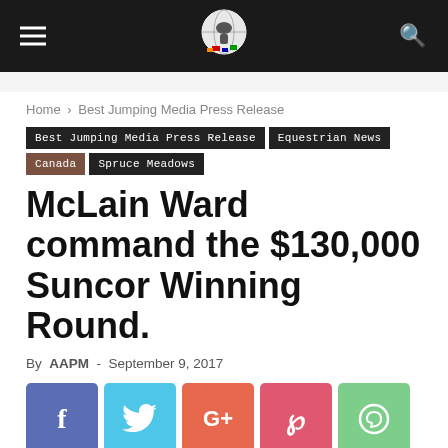Navigation bar with hamburger menu, logo, and search icon
Home › Best Jumping Media Press Release
Best Jumping Media Press Release  Equestrian News  Canada  Spruce Meadows
McLain Ward command the $130,000 Suncor Winning Round.
By AAPM - September 9, 2017
[Figure (other): Social sharing buttons: Facebook (blue), Twitter (cyan), Google+ (orange-red), Pinterest (pink-red), WhatsApp (green)]
[Figure (photo): Partial photo visible at the bottom of the page]